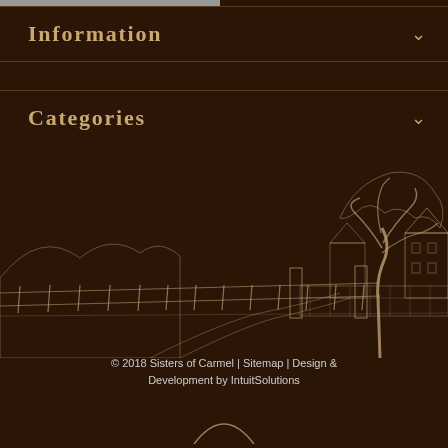Information
Categories
Help
[Figure (illustration): Line-art illustration of a building/estate with a large tree, stone wall/fence, and path, drawn in white on dark brown background]
© 2018 Sisters of Carmel | Sitemap | Design & Development by IntuitSolutions